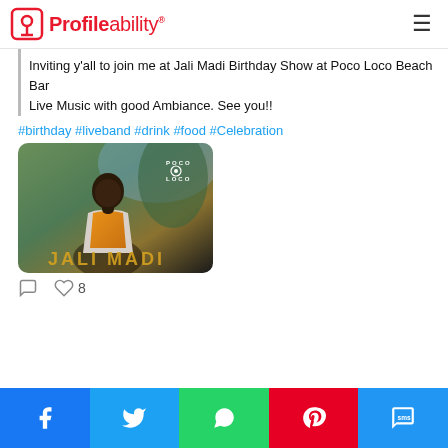Profileability
Inviting y'all to join me at Jali Madi Birthday Show at Poco Loco Beach Bar
Live Music with good Ambiance. See you!!
#birthday #liveband #drink #food #Celebration
[Figure (photo): Promotional photo of Jali Madi performer at Poco Loco Beach Bar, wearing an orange vest, with text JALI MADI at the bottom and Poco Loco logo top right]
8 likes
Share buttons: Facebook, Twitter, WhatsApp, Pinterest, SMS